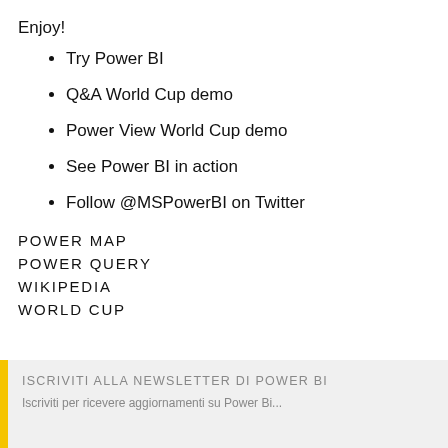Enjoy!
Try Power BI
Q&A World Cup demo
Power View World Cup demo
See Power BI in action
Follow @MSPowerBI on Twitter
POWER MAP
POWER QUERY
WIKIPEDIA
WORLD CUP
ISCRIVITI ALLA NEWSLETTER DI POWER BI